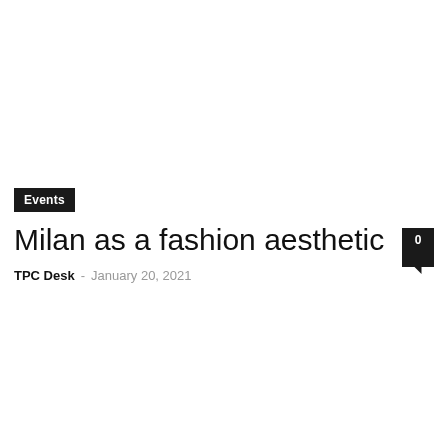Events
Milan as a fashion aesthetic
TPC Desk - January 20, 2021